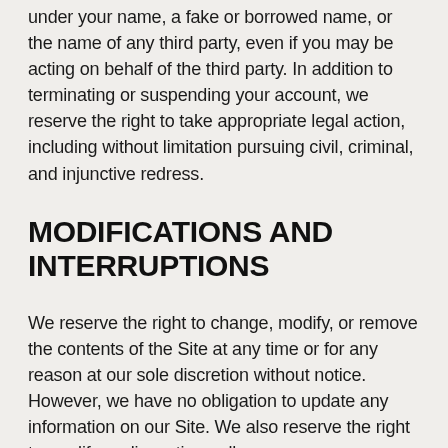under your name, a fake or borrowed name, or the name of any third party, even if you may be acting on behalf of the third party. In addition to terminating or suspending your account, we reserve the right to take appropriate legal action, including without limitation pursuing civil, criminal, and injunctive redress.
MODIFICATIONS AND INTERRUPTIONS
We reserve the right to change, modify, or remove the contents of the Site at any time or for any reason at our sole discretion without notice. However, we have no obligation to update any information on our Site. We also reserve the right to modify or discontinue all or